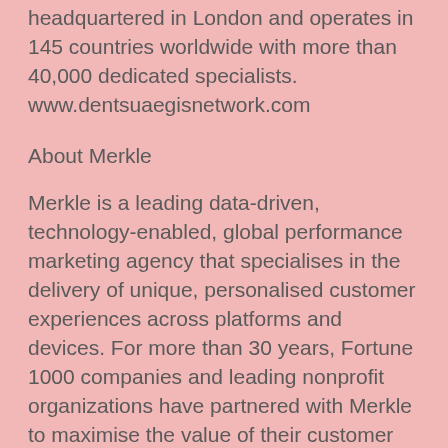headquartered in London and operates in 145 countries worldwide with more than 40,000 dedicated specialists. www.dentsuaegisnetwork.com
About Merkle
Merkle is a leading data-driven, technology-enabled, global performance marketing agency that specialises in the delivery of unique, personalised customer experiences across platforms and devices. For more than 30 years, Fortune 1000 companies and leading nonprofit organizations have partnered with Merkle to maximise the value of their customer portfolios. The agency’s heritage in data, technology, and analytics forms the foundation for its unmatched skills in understanding consumer insights that drive people-based marketing strategies. Its combined strengths in performance media, customer experience, customer relationship management, loyalty, and enterprise marketing technology drive improved marketing results and competitive advantage. With more than 5,500 employees, Merkle is headquartered in Columbia, Maryland, with 24 additional offices in the US and 26 offices in EMEA and